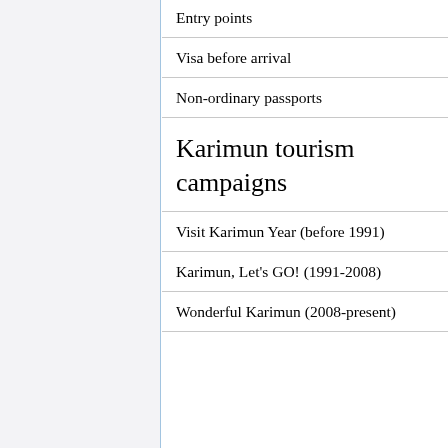Entry points
Visa before arrival
Non-ordinary passports
Karimun tourism campaigns
Visit Karimun Year (before 1991)
Karimun, Let's GO! (1991-2008)
Wonderful Karimun (2008-present)